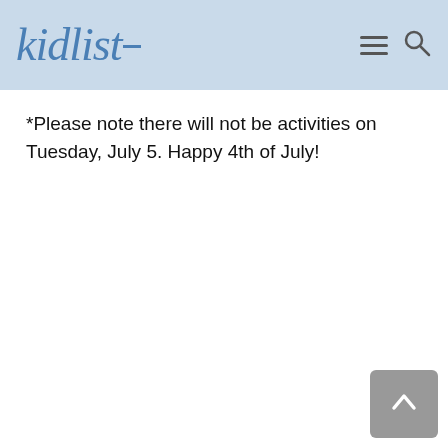kidlist
*Please note there will not be activities on Tuesday, July 5. Happy 4th of July!